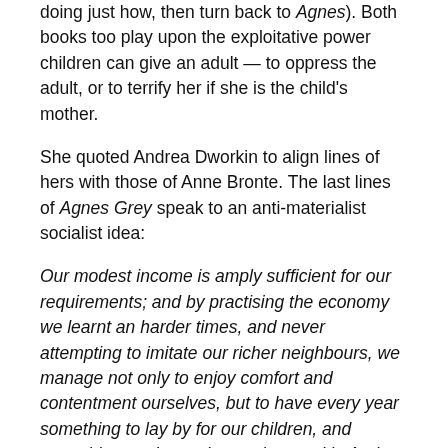doing just how, then turn back to Agnes). Both books too play upon the exploitative power children can give an adult — to oppress the adult, or to terrify her if she is the child's mother.
She quoted Andrea Dworkin to align lines of hers with those of Anne Bronte. The last lines of Agnes Grey speak to an anti-materialist socialist idea:
Our modest income is amply sufficient for our requirements; and by practising the economy we learnt an harder times, and never attempting to imitate our richer neighbours, we manage not only to enjoy comfort and contentment ourselves, but to have every year something to lay by for our children, and something to give to those who need it. And now I think I have said sufficient.
I have omitted much that Samira Ahmed said about